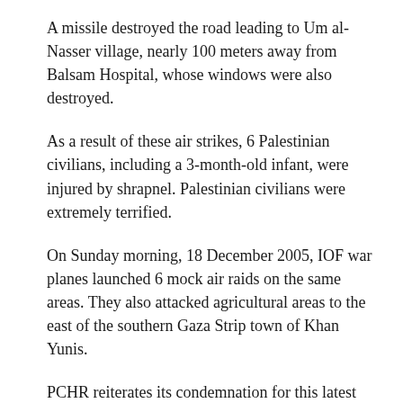A missile destroyed the road leading to Um al-Nasser village, nearly 100 meters away from Balsam Hospital, whose windows were also destroyed.
As a result of these air strikes, 6 Palestinian civilians, including a 3-month-old infant, were injured by shrapnel. Palestinian civilians were extremely terrified.
On Sunday morning, 18 December 2005, IOF war planes launched 6 mock air raids on the same areas. They also attacked agricultural areas to the east of the southern Gaza Strip town of Khan Yunis.
PCHR reiterates its condemnation for this latest escalation, which further proves that the Israeli Disengagement Plan was a form of IOF redeployment rather than an end of occupation as the Israeli occupation is still effective both physically and legally.